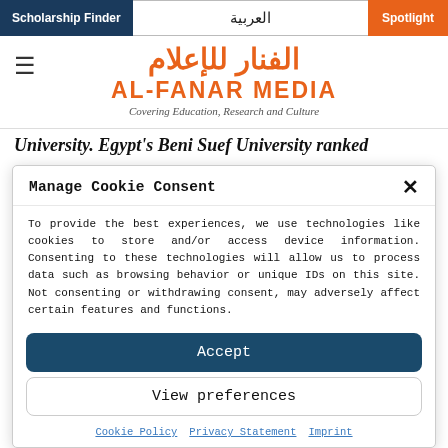Scholarship Finder | العربية | Spotlight
[Figure (logo): Al-Fanar Media logo with Arabic text and English text 'AL-FANAR MEDIA', tagline 'Covering Education, Research and Culture']
University. Egypt's Beni Suef University ranked
Manage Cookie Consent
To provide the best experiences, we use technologies like cookies to store and/or access device information. Consenting to these technologies will allow us to process data such as browsing behavior or unique IDs on this site. Not consenting or withdrawing consent, may adversely affect certain features and functions.
Accept
View preferences
Cookie Policy  Privacy Statement  Imprint